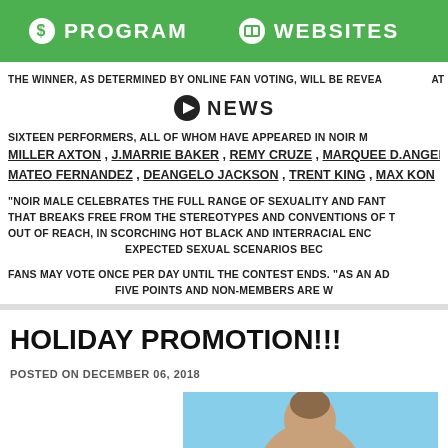PROGRAM   WEBSITES
THE WINNER, AS DETERMINED BY ONLINE FAN VOTING, WILL BE REVEALED AT
NEWS
SIXTEEN PERFORMERS, ALL OF WHOM HAVE APPEARED IN NOIR M MILLER AXTON, J.MARRIE BAKER, REMY CRUZE, MARQUEE D.ANGEL, MATEO FERNANDEZ, DEANGELO JACKSON, TRENT KING, MAX KON
"NOIR MALE CELEBRATES THE FULL RANGE OF SEXUALITY AND FANT THAT BREAKS FREE FROM THE STEREOTYPES AND CONVENTIONS OF T OUT OF REACH, IN SCORCHING HOT BLACK AND INTERRACIAL ENC EXPECTED SEXUAL SCENARIOS BEC
FANS MAY VOTE ONCE PER DAY UNTIL THE CONTEST ENDS. "AS AN AD FIVE POINTS AND NON-MEMBERS ARE W
HOLIDAY PROMOTION!!!
POSTED ON DECEMBER 06, 2018
[Figure (photo): Photo of a person against a blue background, cropped at top]